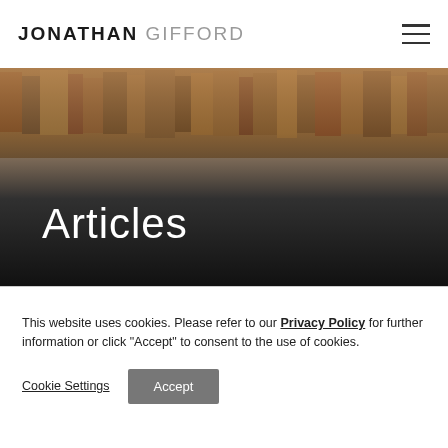JONATHAN GIFFORD
[Figure (photo): Dark hero banner with a blurred bookshelf image in the background fading to black at the bottom, with the heading 'Articles' in large white sans-serif text overlaid on the dark lower portion.]
Articles
This website uses cookies. Please refer to our Privacy Policy for further information or click "Accept" to consent to the use of cookies.
Cookie Settings  Accept